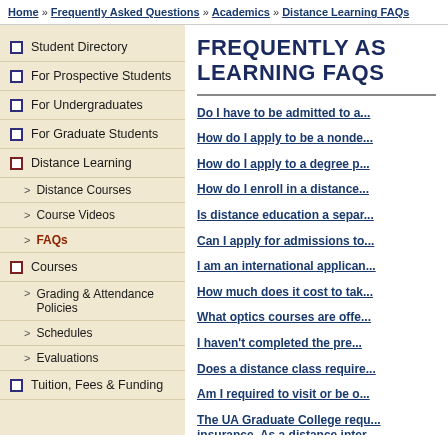Home » Frequently Asked Questions » Academics » Distance Learning FAQs
Student Directory
For Prospective Students
For Undergraduates
For Graduate Students
Distance Learning
Distance Courses
Course Videos
FAQs
Courses
Grading & Attendance Policies
Schedules
Evaluations
Tuition, Fees & Funding
FREQUENTLY ASKED QUESTIONS — DISTANCE LEARNING FAQS
Do I have to be admitted to a...
How do I apply to be a nonde...
How do I apply to a degree p...
How do I enroll in a distance...
Is distance education a separ...
Can I apply for admissions to...
I am an international applican...
How much does it cost to tak...
What optics courses are offe...
I haven't completed the pre...
Does a distance class require...
Am I required to visit or be o...
The UA Graduate College requ... insurance. As a distance inter...